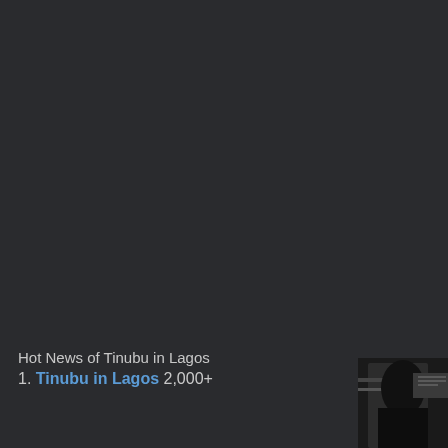Hot News of Tinubu in Lagos
1. Tinubu in Lagos 2,000+
[Figure (photo): Dark thumbnail image of a person, partially visible in bottom-right corner]